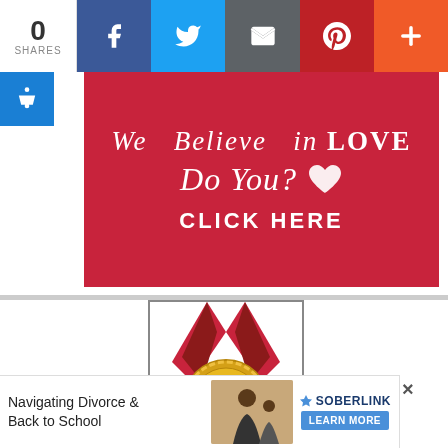[Figure (infographic): Social share bar with count showing 0 SHARES, Facebook (blue), Twitter (light blue), Email (gray), Pinterest (red), More/Plus (orange) buttons]
[Figure (infographic): Red banner advertisement: 'We Believe in LOVE Do You? CLICK HERE' with white heart icon on red background]
[Figure (infographic): Gold medal award image: 'AWARDED TOP 100 DIVORCE' with ribbon, inside a bordered frame]
[Figure (infographic): Bottom ad banner: 'Navigating Divorce & Back to School' with Soberlink branding and LEARN MORE button, with close X]